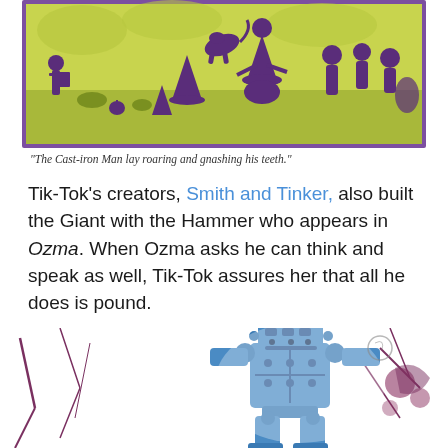[Figure (illustration): A vintage two-color (purple and yellow-green) illustration showing fantasy characters including witches, a flying dog, and various Oz-like characters in a landscape scene.]
"The Cast-iron Man lay roaring and gnashing his teeth."
Tik-Tok's creators, Smith and Tinker, also built the Giant with the Hammer who appears in Ozma. When Ozma asks he can think and speak as well, Tik-Tok assures her that all he does is pound.
[Figure (illustration): A vintage illustration of a mechanical robot (Tik-Tok) rendered in blue, depicted as a boxy mechanical figure breaking through a wall, with purple/brown splatter details.]